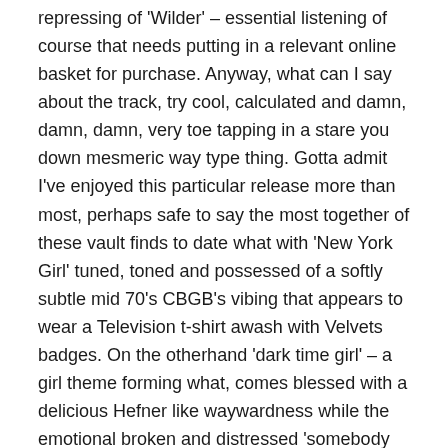repressing of 'Wilder' – essential listening of course that needs putting in a relevant online basket for purchase. Anyway, what can I say about the track, try cool, calculated and damn, damn, damn, very toe tapping in a stare you down mesmeric way type thing. Gotta admit I've enjoyed this particular release more than most, perhaps safe to say the most together of these vault finds to date what with 'New York Girl' tuned, toned and possessed of a softly subtle mid 70's CBGB's vibing that appears to wear a Television t-shirt awash with Velvets badges. On the otherhand 'dark time girl' – a girl theme forming what, comes blessed with a delicious Hefner like waywardness while the emotional broken and distressed 'somebody else problem now' is the Bordellos at their most crushed, reflective and damaged.
https://bordellos.bandcamp.com/